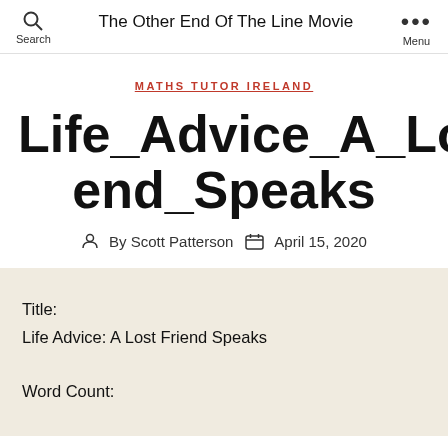The Other End Of The Line Movie | Search | Menu
MATHS TUTOR IRELAND
Life_Advice_A_Lost_Friend_Speaks
By Scott Patterson  April 15, 2020
Title:
Life Advice: A Lost Friend Speaks

Word Count: